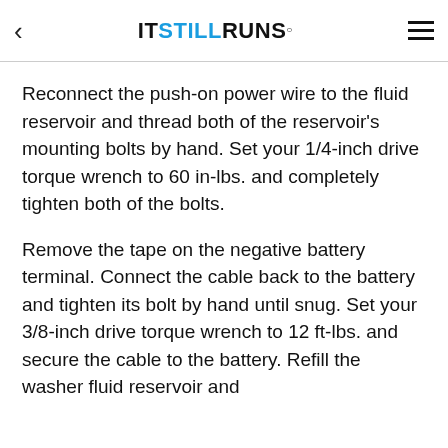< ITSTILLRUNS. ≡
Reconnect the push-on power wire to the fluid reservoir and thread both of the reservoir's mounting bolts by hand. Set your 1/4-inch drive torque wrench to 60 in-lbs. and completely tighten both of the bolts.
Remove the tape on the negative battery terminal. Connect the cable back to the battery and tighten its bolt by hand until snug. Set your 3/8-inch drive torque wrench to 12 ft-lbs. and secure the cable to the battery. Refill the washer fluid reservoir and